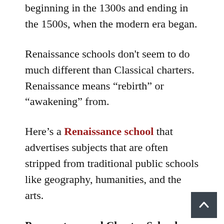beginning in the 1300s and ending in the 1500s, when the modern era began.
Renaissance schools don't seem to do much different than Classical charters. Renaissance means “rebirth” or “awakening” from.
Here’s a Renaissance school that advertises subjects that are often stripped from traditional public schools like geography, humanities, and the arts.
Preparatory and Charter School Academies
“Preparatory” charters and “Academies” are related to classical and renaissance. Often these